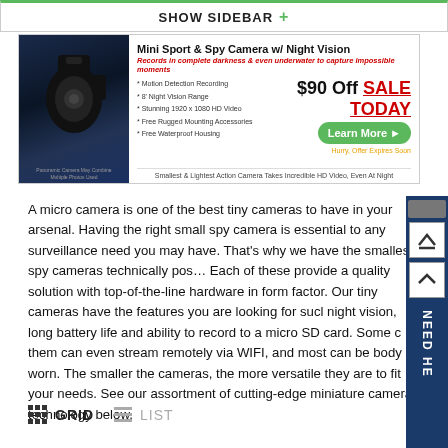SHOW SIDEBAR +
[Figure (photo): Advertisement banner for Mini Sport & Spy Camera with Night Vision. Shows a small black action camera against a city skyline background. Advertises $90 Off SALE TODAY with Learn More button. Features: Motion Detection Recording, 8' Night Vision Range, Stunning 1920x1080 HD Video, Free Rugged Mounting Accessories, Free Waterproof Housing. Smallest & Lightest Action Camera Takes Incredible HD Video, Even At Night.]
A micro camera is one of the best tiny cameras to have in your arsenal. Having the right small spy camera is essential to any surveillance need you may have. That’s why we have the smallest spy cameras technically possible. Each of these provide a quality solution with top-of-the-line hardware in a small form factor. Our tiny cameras have the features you are looking for such as night vision, long battery life and ability to record to a micro SD card. Some of them can even stream remotely via WIFI, and most can be body worn. The smaller the cameras, the more versatile they are to fit your needs. See our assortment of cutting-edge miniature camera technology below.
GRID
LIST